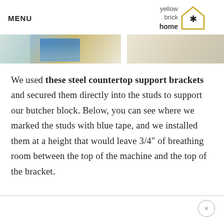MENU | yellow brick home logo
[Figure (photo): Two partial photos: left shows blue tape/materials on a surface, right shows a lighter stone/material surface]
We used these steel countertop support brackets and secured them directly into the studs to support our butcher block. Below, you can see where we marked the studs with blue tape, and we installed them at a height that would leave 3/4″ of breathing room between the top of the machine and the top of the bracket.
×